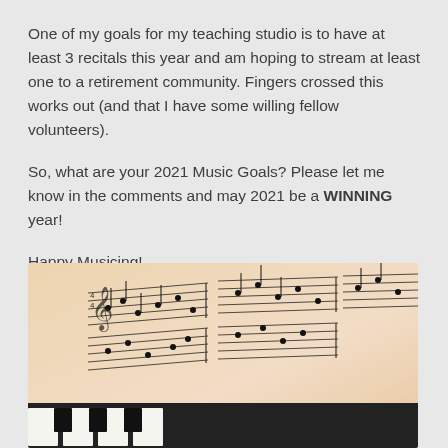One of my goals for my teaching studio is to have at least 3 recitals this year and am hoping to stream at least one to a retirement community. Fingers crossed this works out (and that I have some willing fellow volunteers).
So, what are your 2021 Music Goals? Please let me know in the comments and may 2021 be a WINNING year!
Happy Musicing!
[Figure (photo): Close-up photo of sheet music (musical notation on paper with a warm beige/peach tone) resting on piano keys visible at the bottom left corner.]